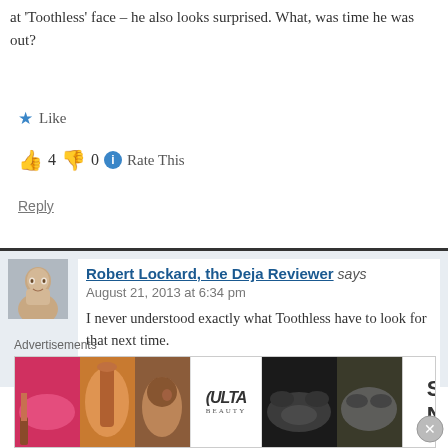at 'Toothless' face – he also looks surprised. What, was time he was out?
★ Like
👍 4 👎 0 ℹ Rate This
Reply
[Figure (photo): Avatar photo of Robert Lockard, a man smiling]
Robert Lockard, the Deja Reviewer says
August 21, 2013 at 6:34 pm
I never understood exactly what Toothless have to look for that next time.
It does seem a little odd to me that Hiccup
Advertisements
[Figure (photo): Ulta Beauty advertisement banner showing makeup-related images with SHOP NOW call to action]